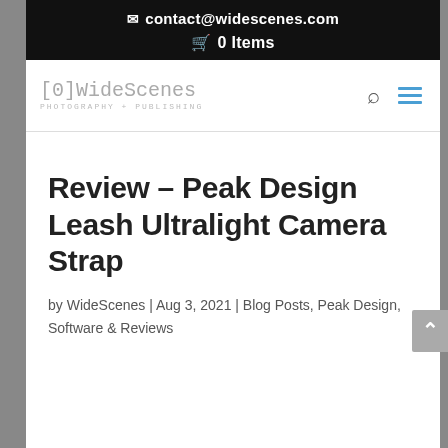✉ contact@widescenes.com
🛒 0 Items
[Figure (logo): WideScenes Photography + Publishing logo in handwritten/monospace style]
Review – Peak Design Leash Ultralight Camera Strap
by WideScenes | Aug 3, 2021 | Blog Posts, Peak Design, Software & Reviews